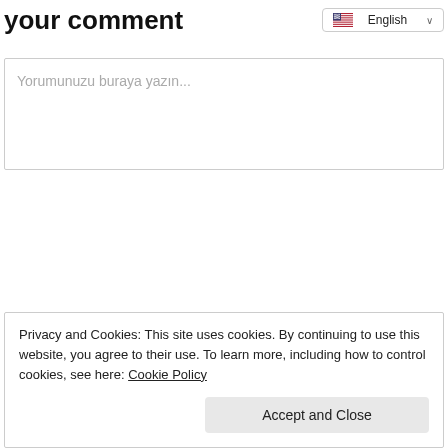your comment
Yorumunuzu buraya yazın...
Privacy and Cookies: This site uses cookies. By continuing to use this website, you agree to their use. To learn more, including how to control cookies, see here: Cookie Policy
Accept and Close